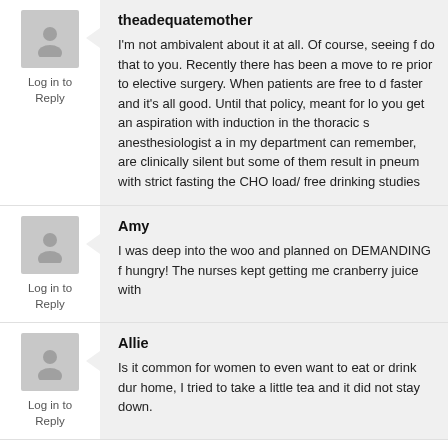theadequatemother
Log in to Reply
I'm not ambivalent about it at all. Of course, seeing f do that to you. Recently there has been a move to re prior to elective surgery. When patients are free to d faster and it's all good. Until that policy, meant for lo you get an aspiration with induction in the thoracic s anesthesiologist a in my department can remember, are clinically silent but some of them result in pneum with strict fasting the CHO load/ free drinking studies
Amy
Log in to Reply
I was deep into the woo and planned on DEMANDING f hungry! The nurses kept getting me cranberry juice with
Allie
Log in to Reply
Is it common for women to even want to eat or drink dur home, I tried to take a little tea and it did not stay down.